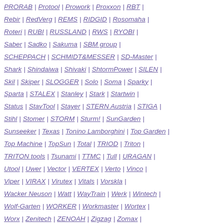PRORAB | Protool | Prowork | Proxxon | RBT | Rebir | RedVerg | REMS | RIDGID | Rosomaha | Roteri | RUBI | RUSSLAND | RWS | RYOBI | Saber | Sadko | Sakuma | SBM group | SCHEPPACH | SCHMIDT&MESSER | SD-Master | Shark | Shindaiwa | Shivaki | ShtormPower | SILEN | Skil | Skiper | SLOGGER | Solo | Soma | Sparky | Sparta | STALEX | Stanley | Stark | Startwin | Status | StavTool | Stayer | STERN Austria | STIGA | Stihl | Stomer | STORM | Sturm! | SunGarden | Sunseeker | Texas | Tonino Lamborghini | Top Garden | Top Machine | TopSun | Total | TRIOD | Triton | TRITON tools | Tsunami | TTMC | Tull | URAGAN | Utool | Uwer | Vector | VERTEX | Verto | Vinco | Viper | VIRAX | Virutex | Vitals | Vorskla | Wacker Neuson | Watt | WayTrain | Werk | Wintech | Wolf-Garten | WORKER | Workmaster | Wortex | Worx | Zenitech | ZENOAH | Zigzag | Zomax